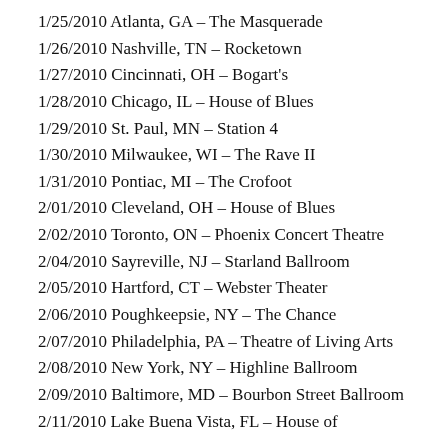1/25/2010 Atlanta, GA – The Masquerade
1/26/2010 Nashville, TN – Rocketown
1/27/2010 Cincinnati, OH – Bogart's
1/28/2010 Chicago, IL – House of Blues
1/29/2010 St. Paul, MN – Station 4
1/30/2010 Milwaukee, WI – The Rave II
1/31/2010 Pontiac, MI – The Crofoot
2/01/2010 Cleveland, OH – House of Blues
2/02/2010 Toronto, ON – Phoenix Concert Theatre
2/04/2010 Sayreville, NJ – Starland Ballroom
2/05/2010 Hartford, CT – Webster Theater
2/06/2010 Poughkeepsie, NY – The Chance
2/07/2010 Philadelphia, PA – Theatre of Living Arts
2/08/2010 New York, NY – Highline Ballroom
2/09/2010 Baltimore, MD – Bourbon Street Ballroom
2/11/2010 Lake Buena Vista, FL – House of